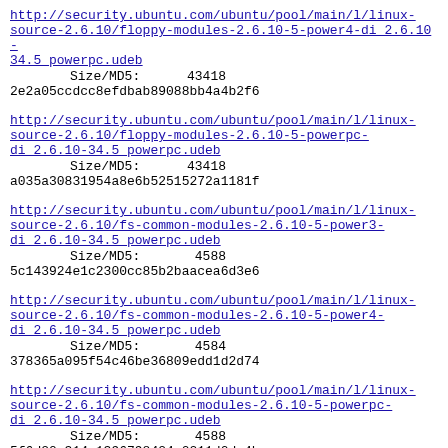http://security.ubuntu.com/ubuntu/pool/main/l/linux-source-2.6.10/floppy-modules-2.6.10-5-power4-di_2.6.10-34.5_powerpc.udeb
        Size/MD5:      43418
2e2a05ccdcc8efdbab89088bb4a4b2f6
http://security.ubuntu.com/ubuntu/pool/main/l/linux-source-2.6.10/floppy-modules-2.6.10-5-powerpc-di_2.6.10-34.5_powerpc.udeb
        Size/MD5:      43418
a035a30831954a8e6b52515272a1181f
http://security.ubuntu.com/ubuntu/pool/main/l/linux-source-2.6.10/fs-common-modules-2.6.10-5-power3-di_2.6.10-34.5_powerpc.udeb
        Size/MD5:       4588
5c143924e1c2300cc85b2baacea6d3e6
http://security.ubuntu.com/ubuntu/pool/main/l/linux-source-2.6.10/fs-common-modules-2.6.10-5-power4-di_2.6.10-34.5_powerpc.udeb
        Size/MD5:       4584
378365a095f54c46be36809edd1d2d74
http://security.ubuntu.com/ubuntu/pool/main/l/linux-source-2.6.10/fs-common-modules-2.6.10-5-powerpc-di_2.6.10-34.5_powerpc.udeb
        Size/MD5:       4588
5f6d20a314a1396798424a0211d0da4b